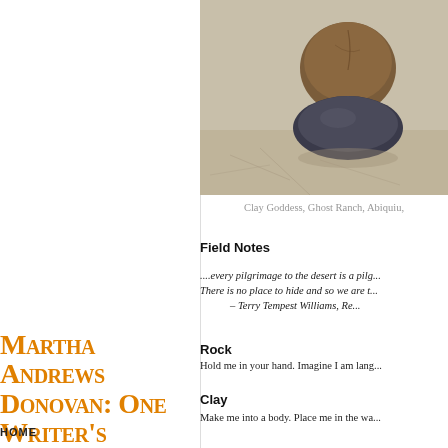[Figure (photo): Photo of clay goddess sculpture and stones at Ghost Ranch, Abiquiu. Rounded clay ball on top of dark smooth stone, resting on sandy/cracked ground.]
Clay Goddess, Ghost Ranch, Abiquiu,
Field Notes
....every pilgrimage to the desert is a pilg... There is no place to hide and so we are t... – Terry Tempest Williams, Re...
Martha Andrews Donovan: One Writer's Excavation
NARRATING A LIFE, PIECE BY PIECE
Rock
Hold me in your hand. Imagine I am lang...
Clay
Make me into a body. Place me in the wa...
HOME